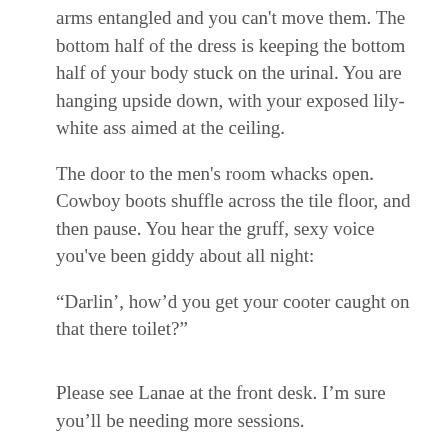arms entangled and you can't move them. The bottom half of the dress is keeping the bottom half of your body stuck on the urinal. You are hanging upside down, with your exposed lily-white ass aimed at the ceiling.
The door to the men's room whacks open. Cowboy boots shuffle across the tile floor, and then pause. You hear the gruff, sexy voice you've been giddy about all night:
“Darlin’, how’d you get your cooter caught on that there toilet?”
Please see Lanae at the front desk. I’m sure you’ll be needing more sessions.
Try to get some sleep,